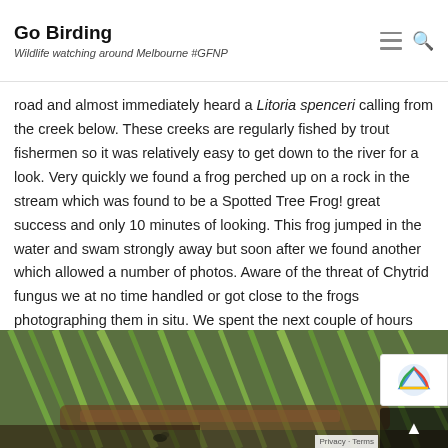Go Birding — Wildlife watching around Melbourne #GFNP
road and almost immediately heard a Litoria spenceri calling from the creek below. These creeks are regularly fished by trout fishermen so it was relatively easy to get down to the river for a look. Very quickly we found a frog perched up on a rock in the stream which was found to be a Spotted Tree Frog! great success and only 10 minutes of looking. This frog jumped in the water and swam strongly away but soon after we found another which allowed a number of photos. Aware of the threat of Chytrid fungus we at no time handled or got close to the frogs photographing them in situ. We spent the next couple of hours wandering up and down some streams and rivers and found perhaps a half a dozen frogs and heard more.
[Figure (photo): Close-up photograph of a Spotted Tree Frog on rocks/vegetation near a stream, showing green and brown coloring amid grass and wood]